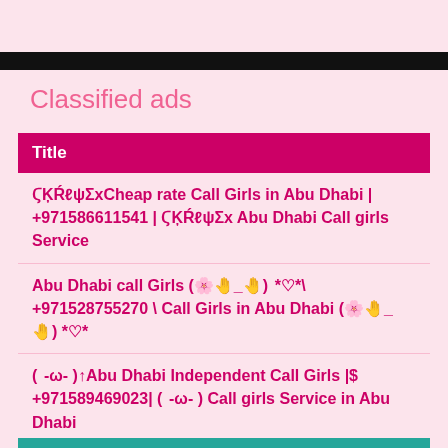Classified ads
| Title |
| --- |
| ϚĶŔℓψΣxCheap rate Call Girls in Abu Dhabi | +971586611541 | ϚĶŔℓψΣx Abu Dhabi Call girls Service |
| Abu Dhabi call Girls (🌸🤚_🤚) *♡*\ +971528755270 \ Call Girls in Abu Dhabi (🌸🤚_🤚) *♡* |
| ( -ω- )↑Abu Dhabi Independent Call Girls |$ +971589469023| ( -ω- ) Call girls Service in Abu Dhabi |
WhatsApp us +971505016903